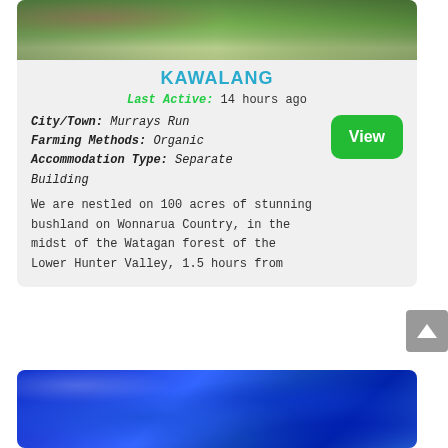[Figure (photo): Outdoor farm scene with green trees, bushland, and structures in background]
KAWALANG
Last Active: 14 hours ago
City/Town: Murrays Run
Farming Methods: Organic
Accommodation Type: Separate Building
We are nestled on 100 acres of stunning bushland on Wonnarua Country, in the midst of the Watagan forest of the Lower Hunter Valley, 1.5 hours from
[Figure (photo): Close-up of bright blue flowers (lobelia or similar) with thin stems and green leaves]